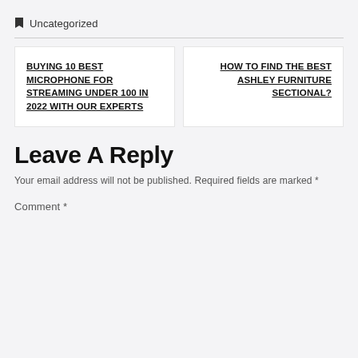🔖 Uncategorized
BUYING 10 BEST MICROPHONE FOR STREAMING UNDER 100 IN 2022 WITH OUR EXPERTS
HOW TO FIND THE BEST ASHLEY FURNITURE SECTIONAL?
Leave A Reply
Your email address will not be published. Required fields are marked *
Comment *